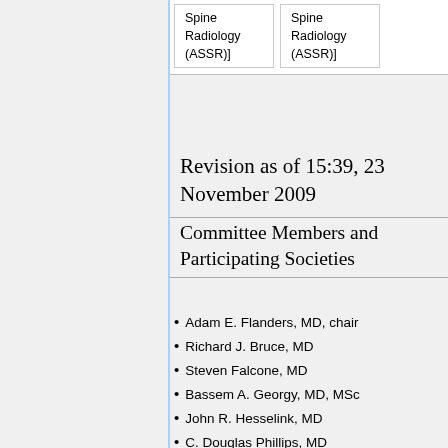| Spine
Radiology
(ASSR)] | Spine
Radiology
(ASSR)] |
Revision as of 15:39, 23 November 2009
Committee Members and Participating Societies
Adam E. Flanders, MD, chair
Richard J. Bruce, MD
Steven Falcone, MD
Bassem A. Georgy, MD, MSc
John R. Hesselink, MD
C. Douglas Phillips, MD
Edward P. Quigley, MD
Howard H. Rowley, MD
Erin Simon Schwartz, MD